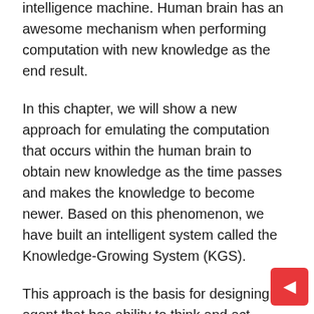intelligence machine. Human brain has an awesome mechanism when performing computation with new knowledge as the end result.
In this chapter, we will show a new approach for emulating the computation that occurs within the human brain to obtain new knowledge as the time passes and makes the knowledge to become newer. Based on this phenomenon, we have built an intelligent system called the Knowledge-Growing System (KGS).
This approach is the basis for designing an agent that has ability to think and act rationally like a human, which is called the cognitive agent. Our cognitive modeling approach has